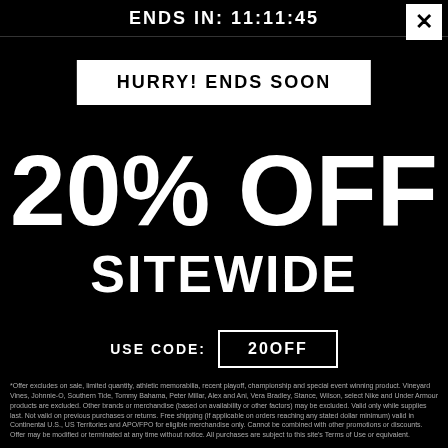ENDS IN: 11:11:45
HURRY! ENDS SOON
20% OFF SITEWIDE
USE CODE: 20OFF
*Offer excludes on sale, limited quantity, athletic memorabilia, recent playoff, championship and special event winning product. Vineyard Vines, Johnnie-O, Southern Tide, Tommy Bahama, Peter Millar, Alex and Ani, Vera Bradley, Stance, Wilson, select Nike and Under Armour products are excluded. Other brands or merchandise (based on availability or other factors) may be excluded. Valid only while supplies last. Not valid on previous purchases or returns. Free shipping (if applicable on orders reaching any stated dollar minimum) valid in Continental U.S., US Territories and APO/FPO for eligible merchandise only. Cannot be combined with other promotions or discounts. Offer may be modified or terminated at any time without notice. All purchases are subject to this site's Terms of Use or equivalent.